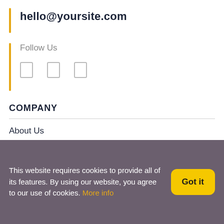hello@yoursite.com
Follow Us
[Figure (other): Three social media icon placeholders (small outlined rectangles)]
COMPANY
About Us
Community Blog
Rewards
This website requires cookies to provide all of its features. By using our website, you agree to our use of cookies. More info